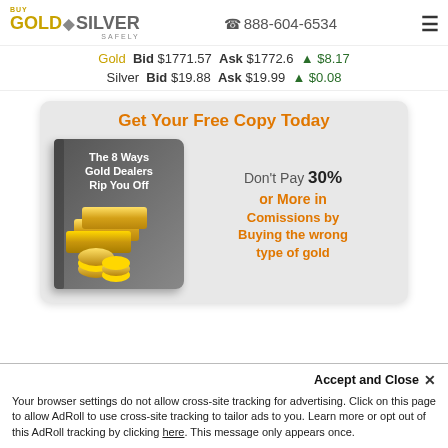Buy Gold & Silver Safely | ☎ 888-604-6534
Gold  Bid $1771.57  Ask $1772.6  ▲ $8.17
Silver  Bid $19.88  Ask $19.99  ▲ $0.08
[Figure (illustration): Advertisement banner: 'Get Your Free Copy Today' – shows a book titled 'The 8 Ways Gold Dealers Rip You Off' with gold bars, text: Don't Pay 30% or More in Comissions by Buying the wrong type of gold]
Accept and Close ×
Your browser settings do not allow cross-site tracking for advertising. Click on this page to allow AdRoll to use cross-site tracking to tailor ads to you. Learn more or opt out of this AdRoll tracking by clicking here. This message only appears once.